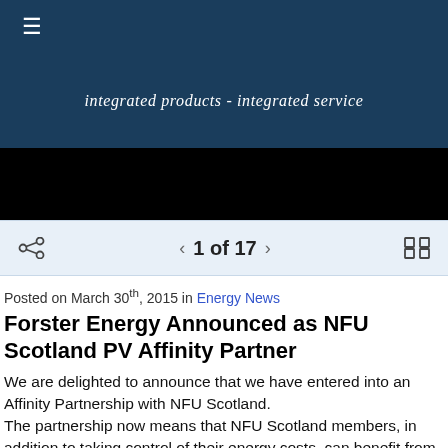integrated products - integrated service
1 of 17
Posted on March 30th, 2015 in Energy News
Forster Energy Announced as NFU Scotland PV Affinity Partner
We are delighted to announce that we have entered into an Affinity Partnership with NFU Scotland. The partnership now means that NFU Scotland members, in addition to taking control of their energy costs, can benefit from saving over £2,000 on PV packages. This offer includes free web based monitoring and a special extended